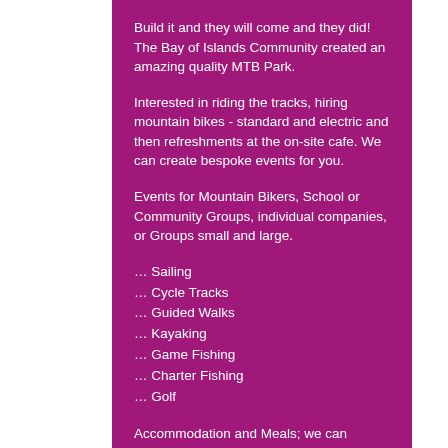Build it and they will come and they did! The Bay of Islands Community created an amazing quality MTB Park.
Interested in riding the tracks, hiring mountain bikes - standard and electric and then refreshments at the on-site cafe. We can create bespoke events for you.
Events for Mountain Bikers, School or Community Groups, individual companies, or Groups small and large.
… Sailing
… Cycle Tracks
… Guided Walks
… Kayaking
… Game Fishing
… Charter Fishing
… Golf
Accommodation and Meals; we can arrange it all for you